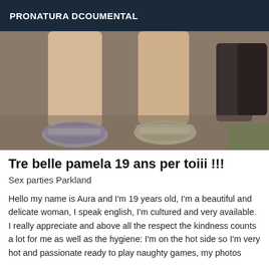PRONATURA DCOUMENTAL
[Figure (photo): Photo showing a person's legs and feet wearing sneakers, standing on what appears to be a wooden or tiled floor, with another figure visible in the background.]
Tre belle pamela 19 ans per toiii !!!
Sex parties Parkland
Hello my name is Aura and I'm 19 years old, I'm a beautiful and delicate woman, I speak english, I'm cultured and very available. I really appreciate and above all the respect the kindness counts a lot for me as well as the hygiene: I'm on the hot side so I'm very hot and passionate ready to play naughty games, my photos